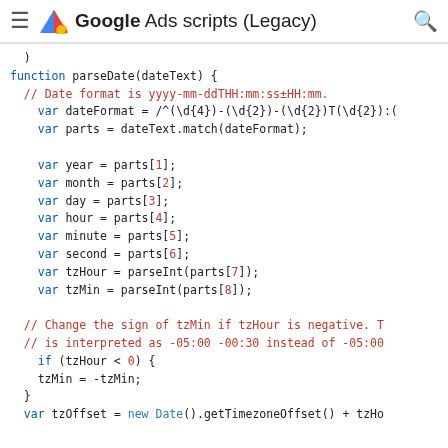Google Ads scripts (Legacy)
[Figure (screenshot): Code screenshot showing a JavaScript parseDate function with syntax highlighting. Keywords in blue, comments in red, identifiers in teal, bracket numbers in red.]